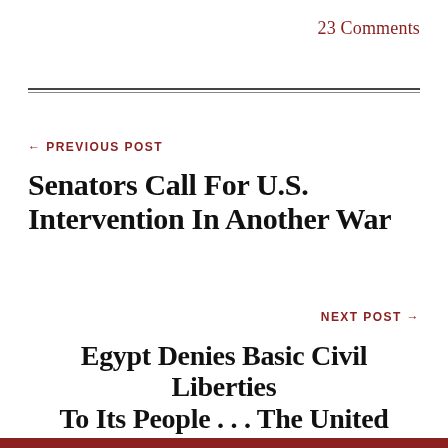23 Comments
← PREVIOUS POST
Senators Call For U.S. Intervention In Another War
NEXT POST →
Egypt Denies Basic Civil Liberties To Its People . . . The United States Responds With $1.3 Billion In